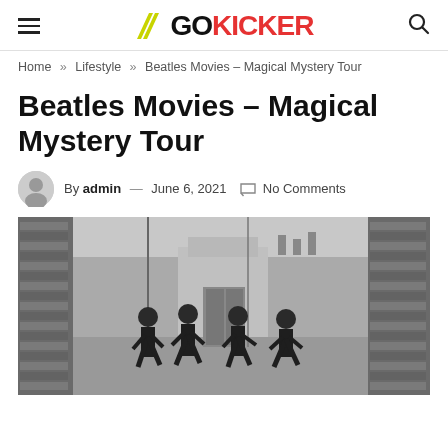GoKicker
Home » Lifestyle » Beatles Movies – Magical Mystery Tour
Beatles Movies – Magical Mystery Tour
By admin — June 6, 2021  No Comments
[Figure (photo): Black and white photo of four young men (The Beatles) running through a narrow alleyway between brick walls, with buildings and rooftops in the background.]